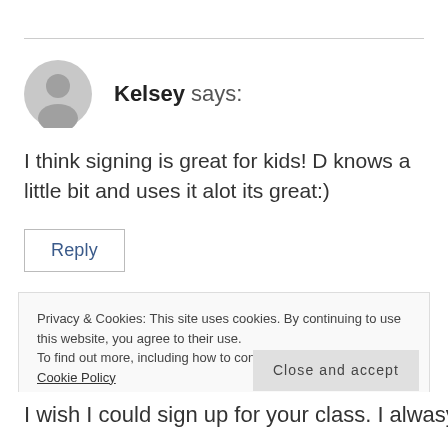Kelsey says:
I think signing is great for kids! D knows a little bit and uses it alot its great:)
Reply
Privacy & Cookies: This site uses cookies. By continuing to use this website, you agree to their use.
To find out more, including how to control cookies, see here:
Cookie Policy
Close and accept
I wish I could sign up for your class. I alwasy